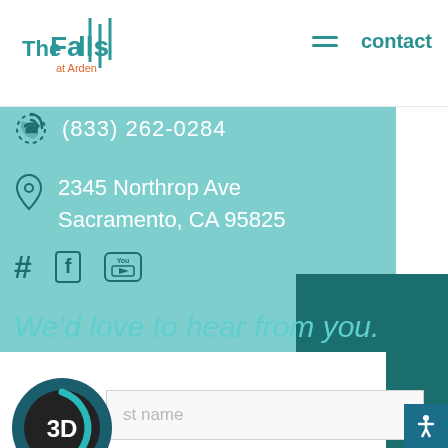The Falls at Arden — contact
(833) 262-0284
2345 Northrop Ave
Sacramento, CA 95825
[Figure (infographic): Social media icons: hashtag, Facebook f, YouTube logo]
We'd love to hear from you.
[Figure (infographic): 3D rotating badge icon]
st name